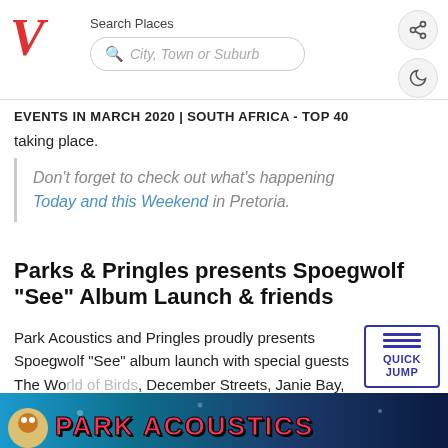V | Search Places | City, Town or Suburb
EVENTS IN MARCH 2020 | SOUTH AFRICA - TOP 40
taking place.
Don't forget to check out what's happening Today and this Weekend in Pretoria.
Parks & Pringles presents Spoegwolf "See" Album Launch & friends
Park Acoustics and Pringles proudly presents Spoegwolf "See" album launch with special guests The World of Birds, December Streets, Janie Bay, James Deacon, Martin and Dsco Cam!
[Figure (screenshot): Bottom strip showing Park Acoustics logo/text in pink on dark blue background]